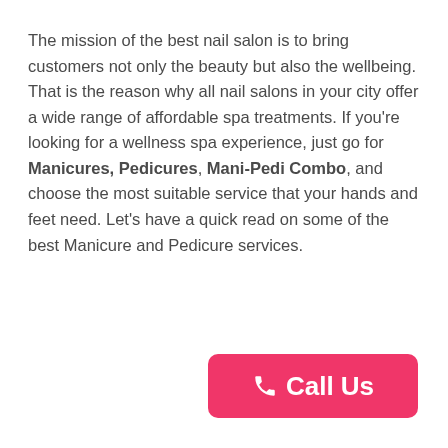The mission of the best nail salon is to bring customers not only the beauty but also the wellbeing. That is the reason why all nail salons in your city offer a wide range of affordable spa treatments. If you're looking for a wellness spa experience, just go for Manicures, Pedicures, Mani-Pedi Combo, and choose the most suitable service that your hands and feet need. Let's have a quick read on some of the best Manicure and Pedicure services.
[Figure (other): Pink 'Call Us' button with phone icon]